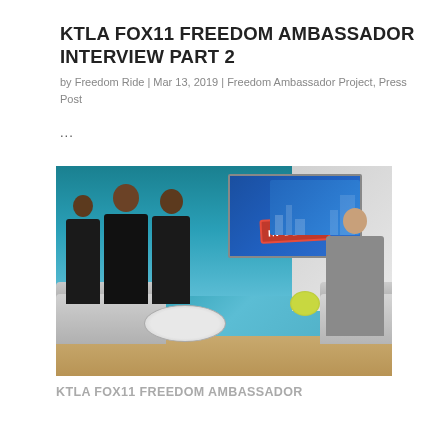KTLA FOX11 FREEDOM AMBASSADOR INTERVIEW PART 2
by Freedom Ride | Mar 13, 2019 | Freedom Ambassador Project, Press Post
...
[Figure (photo): A TV news studio interview scene. Three young people in black Freedom shirts sit on a grey sofa facing an interviewer in a grey suit. A FOX11 NEWS IN DEPTH screen is visible in the background.]
KTLA FOX11 FREEDOM AMBASSADOR